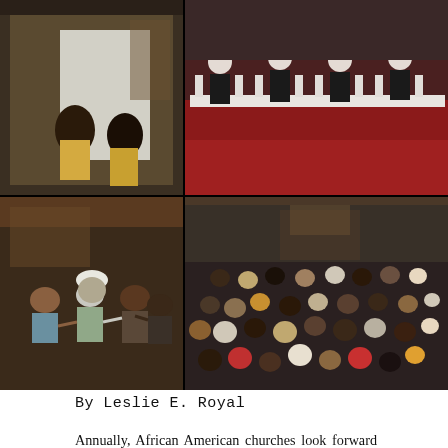[Figure (photo): A collage of four photographs from African American church Watch Night Services. Top left: two people in yellow holding a white fabric in a church interior. Top right: performers in black costumes on a red-carpeted church altar with white balustrade. Bottom left: congregation members holding hands in a circle facing the altar. Bottom right: overhead view of a large crowded congregation gathering in a church.]
By Leslie E. Royal
Annually, African American churches look forward to Watch Night Service with much anticipation. Watch Night originated with the Moravian Brethren in 1733. Soon after, in 1740, John Wesley